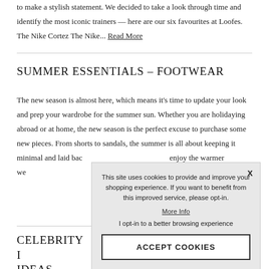to make a stylish statement. We decided to take a look through time and identify the most iconic trainers — here are our six favourites at Loofes. The Nike Cortez The Nike... Read More
SUMMER ESSENTIALS – FOOTWEAR
The new season is almost here, which means it's time to update your look and prep your wardrobe for the summer sun. Whether you are holidaying abroad or at home, the new season is the perfect excuse to purchase some new pieces. From shorts to sandals, the summer is all about keeping it minimal and laid bac... enjoy the warmer we... year is footwear. You...
CELEBRITY I... IDEAS
This site uses cookies to provide and improve your shopping experience. If you want to benefit from this improved service, please opt-in.
More Info
I opt-in to a better browsing experience
ACCEPT COOKIES